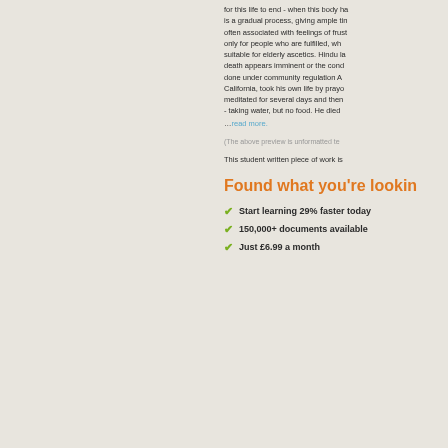for this life to end - when this body ha is a gradual process, giving ample tin often associated with feelings of frust only for people who are fulfilled, wh suitable for elderly ascetics. Hindu la death appears imminent or the cond done under community regulation A California, took his own life by prayo meditated for several days and then - taking water, but no food. He died
…read more.
(The above preview is unformatted te
This student written piece of work is
Found what you're lookin
Start learning 29% faster today
150,000+ documents available
Just £6.99 a month